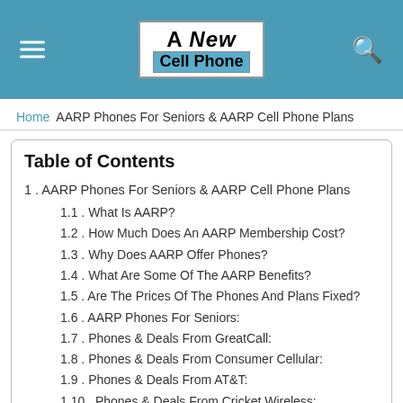A New Cell Phone
Home  AARP Phones For Seniors & AARP Cell Phone Plans
Table of Contents
1. AARP Phones For Seniors & AARP Cell Phone Plans
1.1. What Is AARP?
1.2. How Much Does An AARP Membership Cost?
1.3. Why Does AARP Offer Phones?
1.4. What Are Some Of The AARP Benefits?
1.5. Are The Prices Of The Phones And Plans Fixed?
1.6. AARP Phones For Seniors:
1.7. Phones & Deals From GreatCall:
1.8. Phones & Deals From Consumer Cellular:
1.9. Phones & Deals From AT&T:
1.10. Phones & Deals From Cricket Wireless:
1.11. How To Qualify For Cricket Wireless AARP Mail-In Rebates:
1.12. Phones & Deals From Sprint: